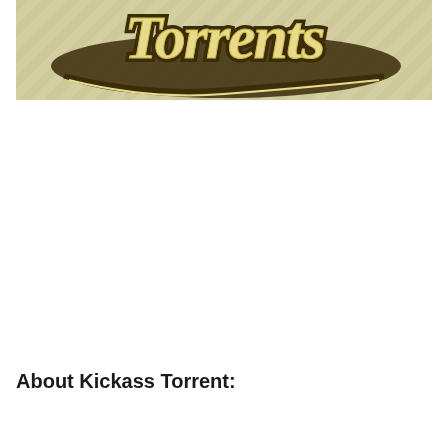[Figure (logo): Kickass Torrents logo — golden/cream colored script lettering spelling 'Torrents' with dark brown outline and shadow, on a beige/tan striped background]
About Kickass Torrent: